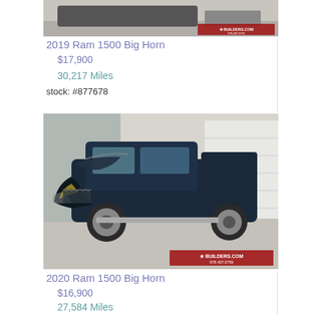[Figure (photo): Partial top of a vehicle listing photo for 2019 Ram 1500 Big Horn, showing bottom portion of a truck in a garage/warehouse]
2019 Ram 1500 Big Horn
$17,900
30,217 Miles
stock: #877678
[Figure (photo): Photo of a dark blue 2020 Ram 1500 Big Horn pickup truck with front-end collision damage, parked in a warehouse/garage with a watermark logo for builders.com]
2020 Ram 1500 Big Horn
$16,900
27,584 Miles
stock: #200382